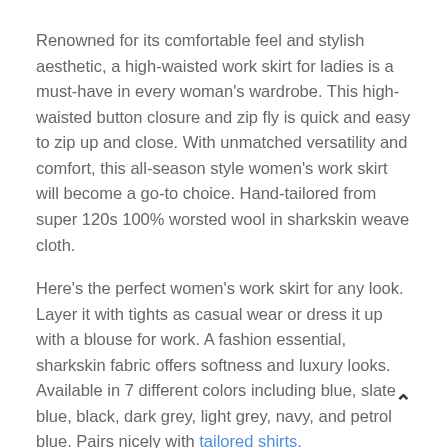Renowned for its comfortable feel and stylish aesthetic, a high-waisted work skirt for ladies is a must-have in every woman's wardrobe. This high-waisted button closure and zip fly is quick and easy to zip up and close. With unmatched versatility and comfort, this all-season style women's work skirt will become a go-to choice. Hand-tailored from super 120s 100% worsted wool in sharkskin weave cloth.
Here's the perfect women's work skirt for any look. Layer it with tights as casual wear or dress it up with a blouse for work. A fashion essential, sharkskin fabric offers softness and luxury looks. Available in 7 different colors including blue, slate blue, black, dark grey, light grey, navy, and petrol blue. Pairs nicely with tailored shirts.
This all-season style high-waisted skirt is both